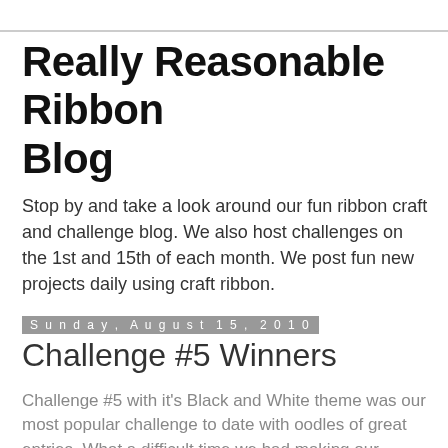Really Reasonable Ribbon Blog
Stop by and take a look around our fun ribbon craft and challenge blog. We also host challenges on the 1st and 15th of each month. We post fun new projects daily using craft ribbon.
Sunday, August 15, 2010
Challenge #5 Winners
Challenge #5 with it's Black and White theme was our most popular challenge to date with oodles of great entries. What a difficult time we had making our selections!
The Top Three picks for Challenge #5 in no particular order are: